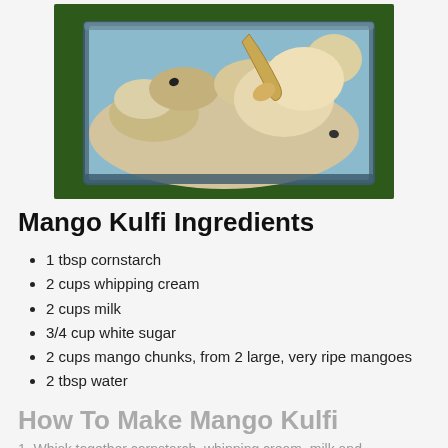[Figure (photo): Close-up photo of mango kulfi in a rectangular metal tray, showing a creamy pale yellow frozen dessert with a spoon scooping into it, on a green surface background]
Mango Kulfi Ingredients
1 tbsp cornstarch
2 cups whipping cream
2 cups milk
3/4 cup white sugar
2 cups mango chunks, from 2 large, very ripe mangoes
2 tbsp water
How To Make Mango Kulfi
1. Whisk together cornstarch, whipping cream, milk and